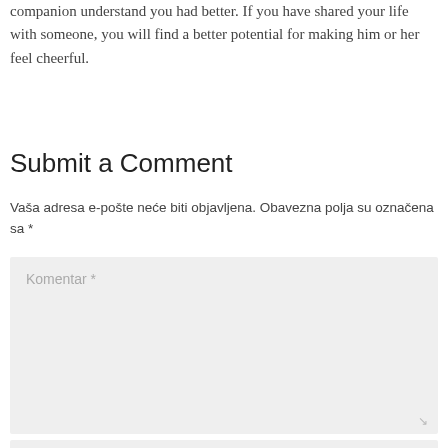companion understand you had better. If you have shared your life with someone, you will find a better potential for making him or her feel cheerful.
Submit a Comment
Vaša adresa e-pošte neće biti objavljena. Obavezna polja su označena sa *
[Figure (other): Comment textarea input field with placeholder text 'Komentar *' on a light grey background]
[Figure (other): Text input field on a light grey background, partially visible at bottom of page]